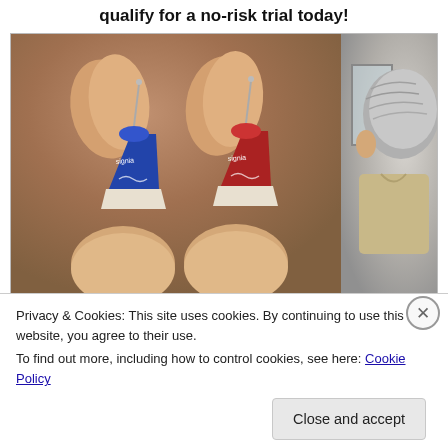qualify for a no-risk trial today!
[Figure (photo): Two small in-ear hearing aids (one blue, one red, both branded Signia) held between fingers against a blurred warm background, and a partial photo of an elderly person on the right side.]
Privacy & Cookies: This site uses cookies. By continuing to use this website, you agree to their use.
To find out more, including how to control cookies, see here: Cookie Policy
Close and accept